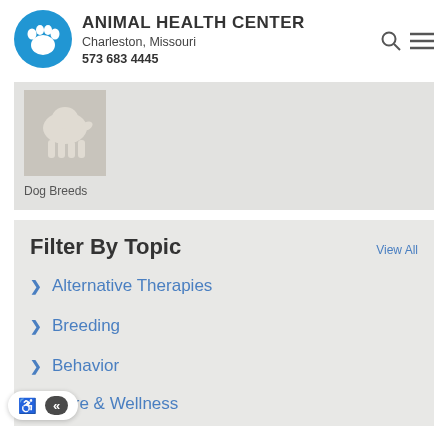Animal Health Center — Charleston, Missouri — 573 683 4445
[Figure (logo): Blue circle with white paw print logo for Animal Health Center]
[Figure (photo): Dog breed placeholder image showing white dog silhouette on beige background]
Dog Breeds
Filter By Topic
View All
Alternative Therapies
Breeding
Behavior
Care & Wellness